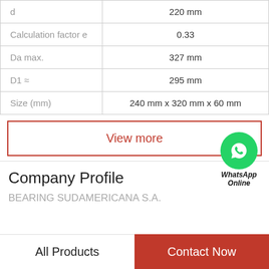| Parameter | Value |
| --- | --- |
| d | 220 mm |
| Calculation factor e | 0.33 |
| Da max. | 327 mm |
| D1 ≈ | 295 mm |
| Size (mm) | 240 mm x 320 mm x 60 mm |
View more
Company Profile
BEARING SUDAMERICANA S.A.
All Products   Contact Now